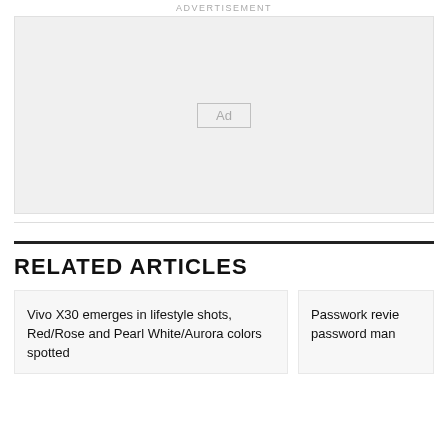ADVERTISEMENT
[Figure (other): Advertisement placeholder box with 'Ad' label in center]
RELATED ARTICLES
Vivo X30 emerges in lifestyle shots, Red/Rose and Pearl White/Aurora colors spotted
Passwork review password man